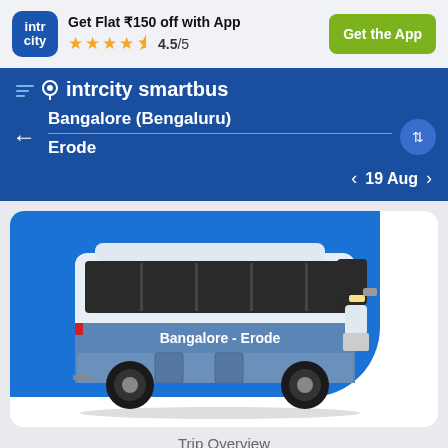Get Flat ₹150 off with App  4.5/5  Get the App
intrcity smartbus
Bangalore (Bengaluru)
Erode
19 Aug
[Figure (illustration): Illustration of a blue intercity bus with 'Bangalore - Erode' text on its side, shown against a blue curved background]
Trip Overview